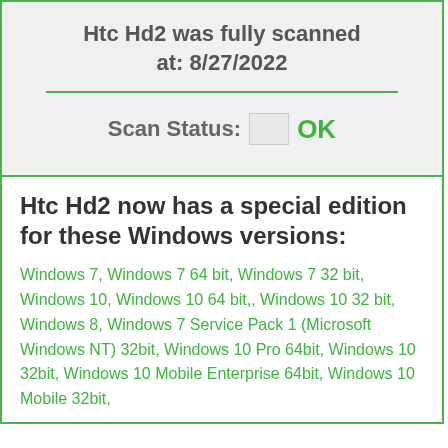Htc Hd2 was fully scanned at: 8/27/2022
Scan Status: OK
Htc Hd2 now has a special edition for these Windows versions:
Windows 7, Windows 7 64 bit, Windows 7 32 bit, Windows 10, Windows 10 64 bit,, Windows 10 32 bit, Windows 8, Windows 7 Service Pack 1 (Microsoft Windows NT) 32bit, Windows 10 Pro 64bit, Windows 10 32bit, Windows 10 Mobile Enterprise 64bit, Windows 10 Mobile 32bit,